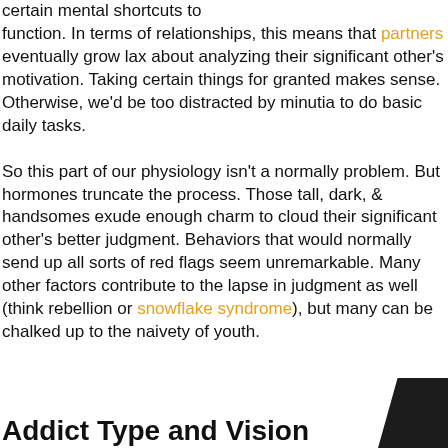certain mental shortcuts to function. In terms of relationships, this means that partners eventually grow lax about analyzing their significant other's motivation. Taking certain things for granted makes sense. Otherwise, we'd be too distracted by minutia to do basic daily tasks.

So this part of our physiology isn't a normally problem. But hormones truncate the process. Those tall, dark, & handsomes exude enough charm to cloud their significant other's better judgment. Behaviors that would normally send up all sorts of red flags seem unremarkable. Many other factors contribute to the lapse in judgment as well (think rebellion or snowflake syndrome), but many can be chalked up to the naivety of youth.
Addict Type and Vision